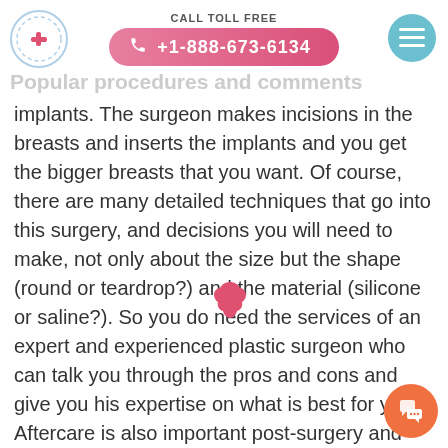CALL TOLL FREE +1-888-673-6134
implants. The surgeon makes incisions in the breasts and inserts the implants and you get the bigger breasts that you want. Of course, there are many detailed techniques that go into this surgery, and decisions you will need to make, not only about the size but the shape (round or teardrop?) and the material (silicone or saline?). So you do need the services of an expert and experienced plastic surgeon who can talk you through the pros and cons and give you his expertise on what is best for you. Aftercare is also important post-surgery and you should expect some pain and discomfort, and you will need to wear appropriate clothing and supportive bras to minimize any tenderness.

Another method for breast augmentation is via the use of fat transfer. The fat is harvested from areas of your body